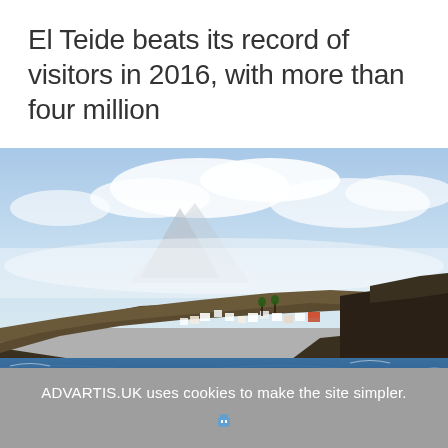El Teide beats its record of visitors in 2016, with more than four million
[Figure (photo): Coastal view of Tenerife showing a rocky hillside with white buildings, deep blue sea in the foreground, and El Teide volcano partially obscured by clouds in the background under a blue sky.]
ADVARTIS.UK uses cookies to make the site simpler.